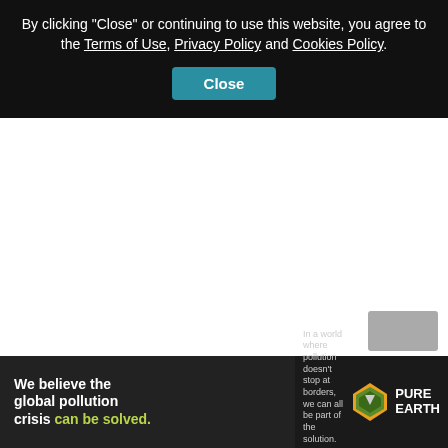By clicking "Close" or continuing to use this website, you agree to the Terms of Use, Privacy Policy and Cookies Policy.
[Figure (screenshot): Teal 'Close' button in the cookie consent banner]
[Figure (screenshot): Gray button element partially visible above the ad banner]
[Figure (infographic): Pure Earth advertisement banner: 'We believe the global pollution crisis can be solved.' with Pure Earth logo and diamond icon]